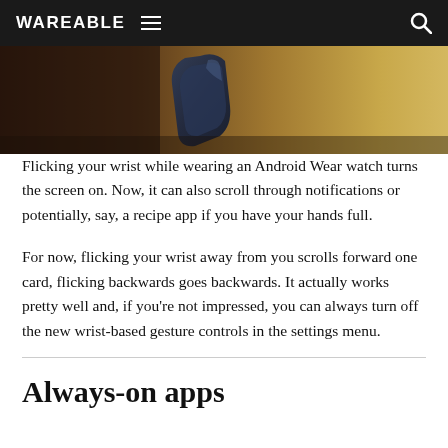WAREABLE
[Figure (photo): Close-up photo of a smartwatch or wearable device on a wooden surface with dark and golden tones]
Flicking your wrist while wearing an Android Wear watch turns the screen on. Now, it can also scroll through notifications or potentially, say, a recipe app if you have your hands full.
For now, flicking your wrist away from you scrolls forward one card, flicking backwards goes backwards. It actually works pretty well and, if you're not impressed, you can always turn off the new wrist-based gesture controls in the settings menu.
Always-on apps